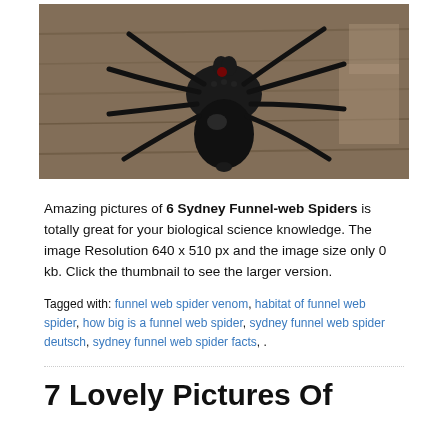[Figure (photo): Close-up photograph of a black Sydney Funnel-web Spider on a wooden/bark surface. The spider is large, dark/black, with visible legs spread out.]
Amazing pictures of 6 Sydney Funnel-web Spiders is totally great for your biological science knowledge. The image Resolution 640 x 510 px and the image size only 0 kb. Click the thumbnail to see the larger version.
Tagged with: funnel web spider venom, habitat of funnel web spider, how big is a funnel web spider, sydney funnel web spider deutsch, sydney funnel web spider facts, .
7 Lovely Pictures Of